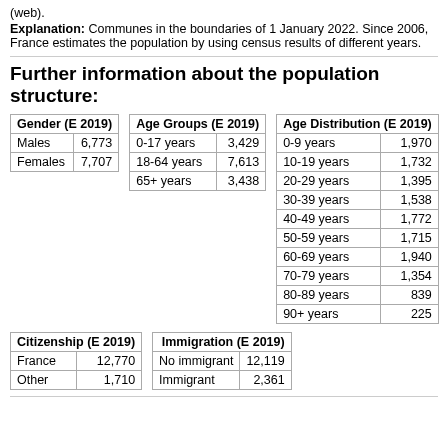(web).
Explanation: Communes in the boundaries of 1 January 2022. Since 2006, France estimates the population by using census results of different years.
Further information about the population structure:
| Gender (E 2019) |  |
| --- | --- |
| Males | 6,773 |
| Females | 7,707 |
| Age Groups (E 2019) |  |
| --- | --- |
| 0-17 years | 3,429 |
| 18-64 years | 7,613 |
| 65+ years | 3,438 |
| Age Distribution (E 2019) |  |
| --- | --- |
| 0-9 years | 1,970 |
| 10-19 years | 1,732 |
| 20-29 years | 1,395 |
| 30-39 years | 1,538 |
| 40-49 years | 1,772 |
| 50-59 years | 1,715 |
| 60-69 years | 1,940 |
| 70-79 years | 1,354 |
| 80-89 years | 839 |
| 90+ years | 225 |
| Citizenship (E 2019) |  |
| --- | --- |
| France | 12,770 |
| Other | 1,710 |
| Immigration (E 2019) |  |
| --- | --- |
| No immigrant | 12,119 |
| Immigrant | 2,361 |